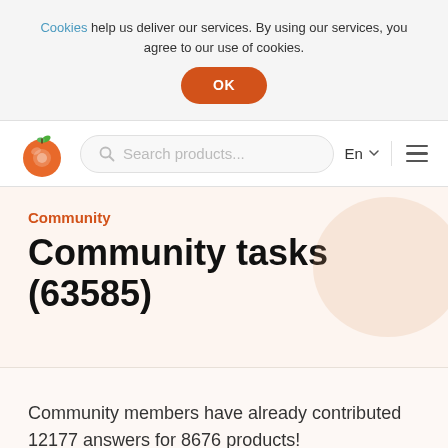Cookies help us deliver our services. By using our services, you agree to our use of cookies.
OK
[Figure (logo): Open Food Facts orange fruit logo with green leaf]
Search products...
En
Community
Community tasks (63585)
Community members have already contributed 12177 answers for 8676 products!